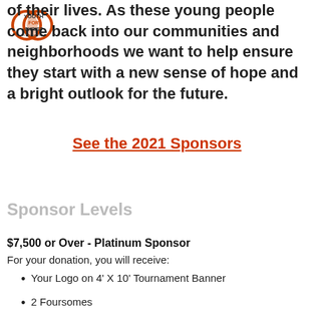[Figure (logo): Youth for Christ logo — two overlapping circles in orange/red with 'YOUTH FOR CHRIST' text]
of their lives. As these young people come back into our communities and neighborhoods we want to help ensure they start with a new sense of hope and a bright outlook for the future.
See the 2021 Sponsors
Sponsor Levels
$7,500 or Over - Platinum Sponsor
For your donation, you will receive:
Your Logo on 4' X 10' Tournament Banner
2 Foursomes